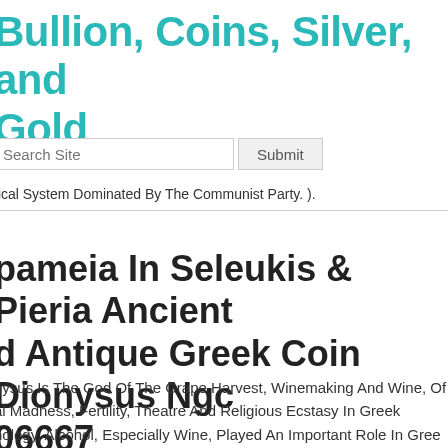Bullion, Coins, Silver, and Gold
Search Site
tical System Dominated By The Communist Party. ).
pameia In Seleukis & Pieria Ancient d Antique Greek Coin Dionysus Ngc 06667
nysus Is The God Of The Grape Harvest, Winemaking And Wine, Of al Madness, Fertility, Theatre And Religious Ecstasy In Greek nology. Alcohol, Especially Wine, Played An Important Role In Gree ure With Dionysus Being An Important Reason For This Life Style.